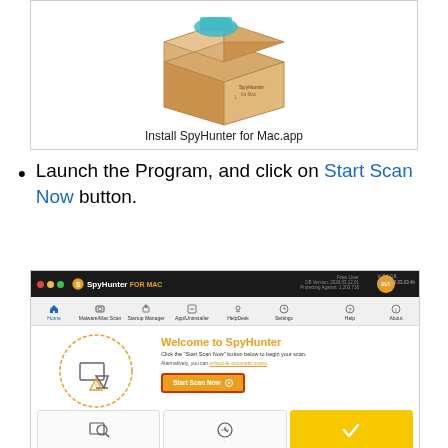[Figure (screenshot): Screenshot showing Install SpyHunter for Mac.app with a cardboard box illustration containing the SpyHunter for Mac installer.]
Launch the Program, and click on Start Scan Now button.
[Figure (screenshot): Screenshot of SpyHunter for Mac application showing the home screen with Welcome to SpyHunter message, Start Scan Now button highlighted with red border, and navigation bar with Home, Malware/Mac Scan, Startup Manager, App/Uninstaller, HelpDesk, Settings, Help, About.]